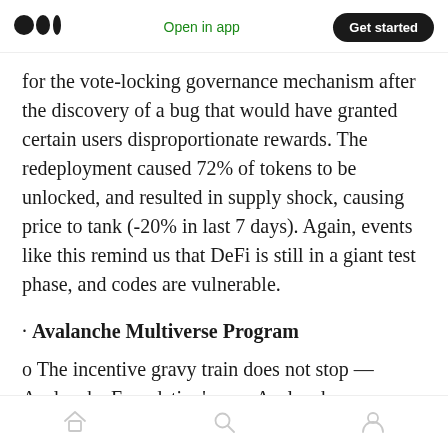Open in app | Get started
for the vote-locking governance mechanism after the discovery of a bug that would have granted certain users disproportionate rewards. The redeployment caused 72% of tokens to be unlocked, and resulted in supply shock, causing price to tank (-20% in last 7 days). Again, events like this remind us that DeFi is still in a giant test phase, and codes are vulnerable.
· Avalanche Multiverse Program
o The incentive gravy train does not stop — Avalanche Foundation's new Avalanche
Home | Search | Profile